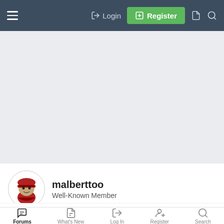Login  Register
[Figure (other): Advertisement/banner area, light gray background]
malberttoo
Well-Known Member
Jul 23, 2015  #2
Forums  What's New  Log In  Register  Search